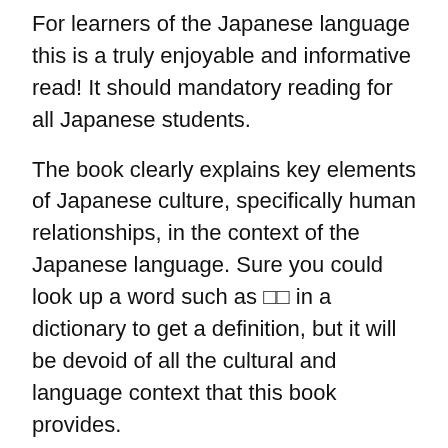For learners of the Japanese language this is a truly enjoyable and informative read! It should mandatory reading for all Japanese students.
The book clearly explains key elements of Japanese culture, specifically human relationships, in the context of the Japanese language. Sure you could look up a word such as □□ in a dictionary to get a definition, but it will be devoid of all the cultural and language context that this book provides.
This book was extremely well written for students of Japanese. In order to enjoy reading this without the need to frequently refer to a dictionary (there are definitions of key words at the end of each chapter) I would guess that you need to be at a solid JLPT N3 level or above.
_________________________.